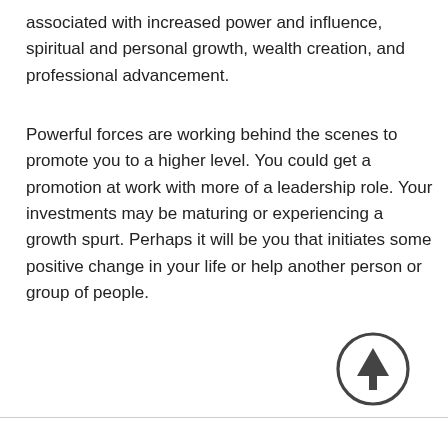associated with increased power and influence, spiritual and personal growth, wealth creation, and professional advancement.
Powerful forces are working behind the scenes to promote you to a higher level. You could get a promotion at work with more of a leadership role. Your investments may be maturing or experiencing a growth spurt. Perhaps it will be you that initiates some positive change in your life or help another person or group of people.
[Figure (illustration): Upward arrow icon inside a circle, dark gray outline]